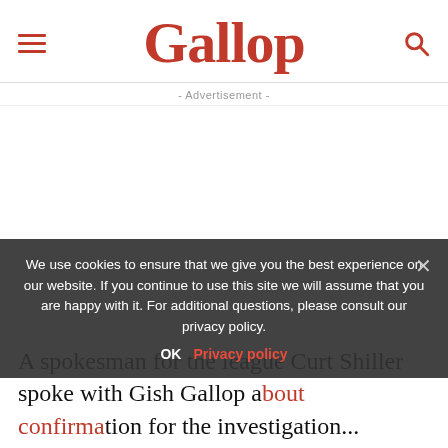Gallop
- Advertisement -
We use cookies to ensure that we give you the best experience on our website. If you continue to use this site we will assume that you are happy with it. For additional questions, please consult our privacy policy.
A spokesman for the league Curt Shiller spoke with Gish Gallop a confirmation for the investigation...